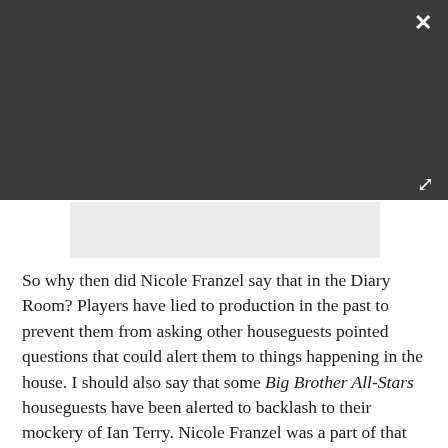[Figure (screenshot): Dark modal header bar with a white X close button in the top right and a white expand/fullscreen icon in the lower right, with a light gray image placeholder below]
So why then did Nicole Franzel say that in the Diary Room? Players have lied to production in the past to prevent them from asking other houseguests pointed questions that could alert them to things happening in the house. I should also say that some Big Brother All-Stars houseguests have been alerted to backlash to their mockery of Ian Terry. Nicole Franzel was a part of that group and did lose sponsorships because of it, so maybe reassuring audiences she is friends